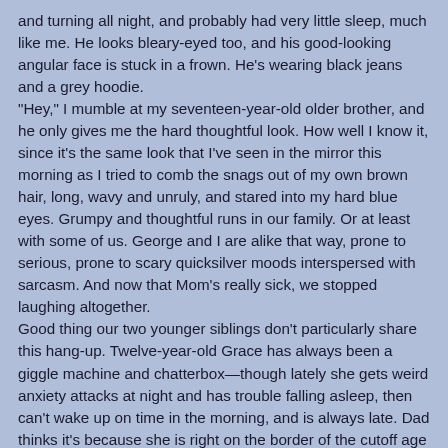and turning all night, and probably had very little sleep, much like me. He looks bleary-eyed too, and his good-looking angular face is stuck in a frown. He's wearing black jeans and a grey hoodie.
"Hey," I mumble at my seventeen-year-old older brother, and he only gives me the hard thoughtful look. How well I know it, since it's the same look that I've seen in the mirror this morning as I tried to comb the snags out of my own brown hair, long, wavy and unruly, and stared into my hard blue eyes. Grumpy and thoughtful runs in our family. Or at least with some of us. George and I are alike that way, prone to serious, prone to scary quicksilver moods interspersed with sarcasm. And now that Mom's really sick, we stopped laughing altogether.
Good thing our two younger siblings don't particularly share this hang-up. Twelve-year-old Grace has always been a giggle machine and chatterbox—though lately she gets weird anxiety attacks at night and has trouble falling asleep, then can't wake up on time in the morning, and is always late. Dad thinks it's because she is right on the border of the cutoff age for the Qualification, and it can go either way for her today. So she's been quietly freaking out.